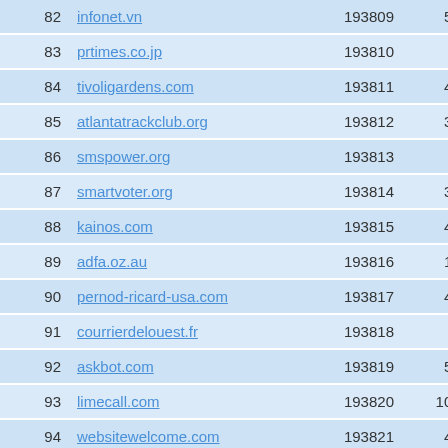| # | Domain | ID1 | ID2 |
| --- | --- | --- | --- |
| 82 | infonet.vn | 193809 | 517229 |
| 83 | prtimes.co.jp | 193810 | 25641 |
| 84 | tivoligardens.com | 193811 | 425160 |
| 85 | atlantatrackclub.org | 193812 | 351909 |
| 86 | smspower.org | 193813 | 26354 |
| 87 | smartvoter.org | 193814 | 313620 |
| 88 | kainos.com | 193815 | 400941 |
| 89 | adfa.oz.au | 193816 | 132437 |
| 90 | pernod-ricard-usa.com | 193817 | 477435 |
| 91 | courrierdelouest.fr | 193818 | 43078 |
| 92 | askbot.com | 193819 | 556906 |
| 93 | limecall.com | 193820 | 1035458 |
| 94 | websitewelcome.com | 193821 | 418923 |
| 95 | aik-sh.de | 193822 | 2653473 |